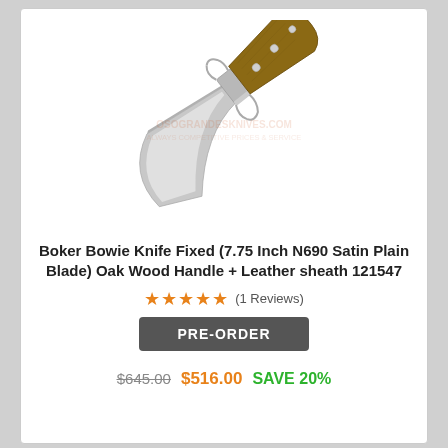[Figure (photo): A Boker Bowie fixed blade knife with a large satin-finished N690 steel blade and oak wood handle with metal bolster and pins, shown diagonally on a white background with a faint watermark.]
Boker Bowie Knife Fixed (7.75 Inch N690 Satin Plain Blade) Oak Wood Handle + Leather sheath 121547
★★★★★ (1 Reviews)
PRE-ORDER
$645.00  $516.00  SAVE 20%